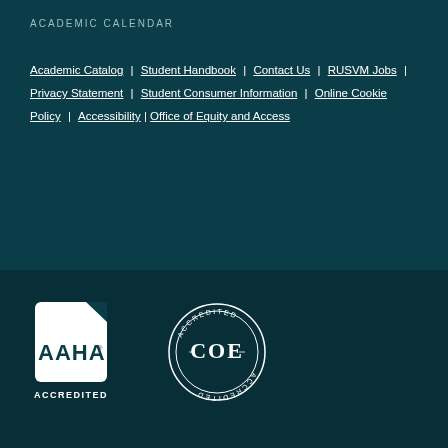ACADEMIC CALENDAR
Academic Catalog | Student Handbook | Contact Us | RUSVM Jobs | Privacy Statement | Student Consumer Information | Online Cookie Policy | Accessibility | Office of Equity and Access
[Figure (logo): AAHA Accredited logo — white shield shape with AAHA text and ACCREDITED below]
[Figure (logo): COE Accredited circular seal logo in white outline]